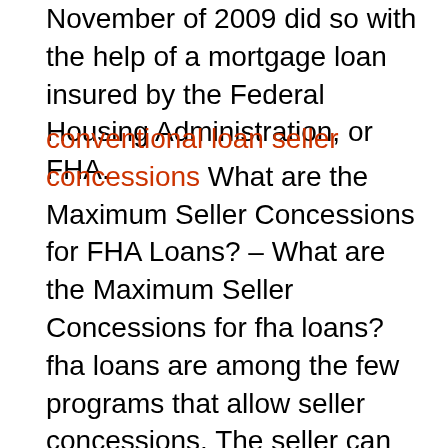November of 2009 did so with the help of a mortgage loan insured by the Federal Housing Administration, or FHA.
conventional loan seller concessions What are the Maximum Seller Concessions for FHA Loans? – What are the Maximum Seller Concessions for fha loans? fha loans are among the few programs that allow seller concessions. The seller can contribute this money towards your closing costs.. In the above example, let's say the seller contributed ,000. Your loan amount would decrease by $2,000.No Pmi Home Loans Mortgage Calculator with PMI, Insurance and Taxes. – Mortgage Calculator. Use SmartAsset's mortgage calculator to estimate your monthly mortgage payment, including the principal and interest, taxes, homeowners insurance and private mortgage insurance (PMI).Is My Loan Fha Federal Housing Administration – Find FHA Loan Limits in My Area. Doing business. business stakeholders. Explore Single Family Housing Program Requirements. Check Out RAD for My Public